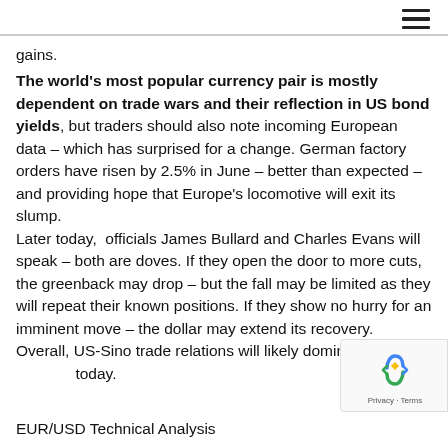≡
gains.
The world's most popular currency pair is mostly dependent on trade wars and their reflection in US bond yields, but traders should also note incoming European data – which has surprised for a change. German factory orders have risen by 2.5% in June – better than expected – and providing hope that Europe's locomotive will exit its slump. Later today, officials James Bullard and Charles Evans will speak – both are doves. If they open the door to more cuts, the greenback may drop – but the fall may be limited as they will repeat their known positions. If they show no hurry for an imminent move – the dollar may extend its recovery. Overall, US-Sino trade relations will likely dominate t… today.
EUR/USD Technical Analysis